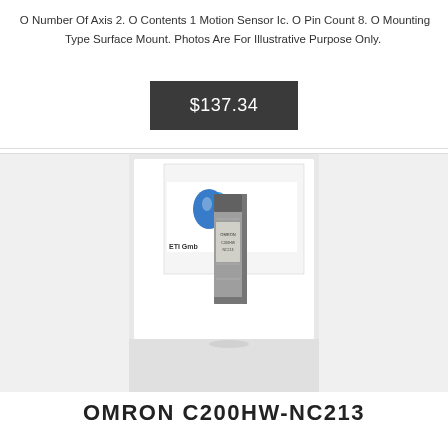O Number Of Axis 2. O Contents 1 Motion Sensor Ic. O Pin Count 8. O Mounting Type Surface Mount. Photos Are For Illustrative Purpose Only.
$137.34
[Figure (photo): Product photo of an OMRON C200HW-NC213 module, a small rectangular grey industrial component standing upright, photographed against a white background with an ETI GmbH KC branded card/logo visible behind it.]
OMRON C200HW-NC213